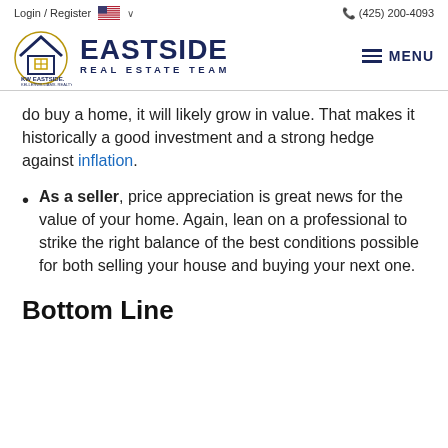Login / Register  🇺🇸 ∨    📞 (425) 200-4093
[Figure (logo): Eastside Real Estate Team logo with KW Eastside Keller Williams Realty emblem and MENU button]
do buy a home, it will likely grow in value. That makes it historically a good investment and a strong hedge against inflation.
As a seller, price appreciation is great news for the value of your home. Again, lean on a professional to strike the right balance of the best conditions possible for both selling your house and buying your next one.
Bottom Line